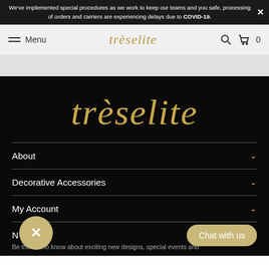We've implemented special procedures as we work to keep our teams and you safe, processing of orders and carriers are experiencing delays due to COVID-19.
Menu | trèselite | 🔍 🛒 0
[Figure (logo): trèselite script logo in gold on black background]
About ∨
Decorative Accessories ∨
My Account ∨
N...r
Be the first to know about exciting new designs, special events and